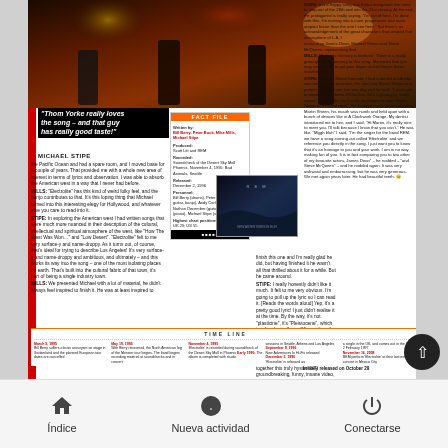[Figure (photo): Concert photo of REM performing on stage with colorful stage lighting]
"Thom Yorke really loves the song – and that guy has really good taste!"
MICHAEL STIPE
Fact File box with written by, produced, recorded, released, personnel, highest chart positions details
[Figure (photo): REM New Adventures in Hi-Fi album cover - dark landscape]
Article body text with interview between Mills and Stipe discussing Electrolite, Thom Yorke, Peter Buck and touring
Timeline bar with dates from March 5 1995 through November 16 2008
88 UNCUT · DECEMBER 2021
Navigation bar: Índice, Nueva actividad, Conectarse